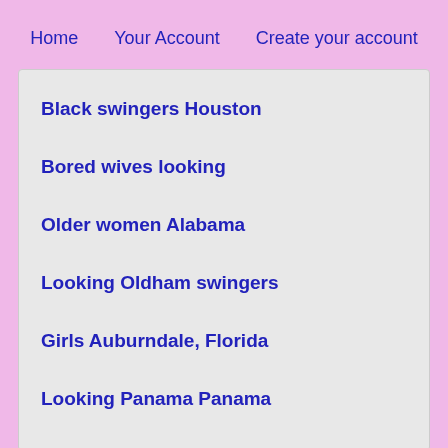Home   Your Account   Create your account
Black swingers Houston
Bored wives looking
Older women Alabama
Looking Oldham swingers
Girls Auburndale, Florida
Looking Panama Panama